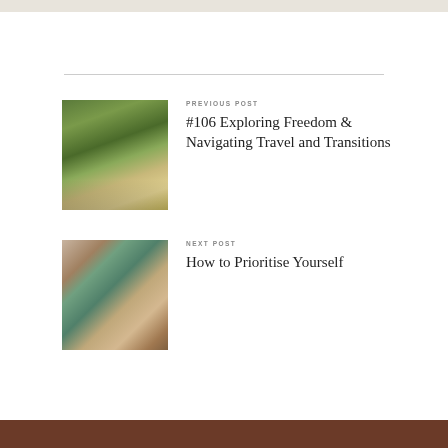[Figure (photo): Forest path with sunlight filtering through green trees, a figure walking in the distance]
PREVIOUS POST
#106 Exploring Freedom & Navigating Travel and Transitions
[Figure (photo): Illustrated tarot or oracle card showing a robed figure, green and teal decorative design]
NEXT POST
How to Prioritise Yourself